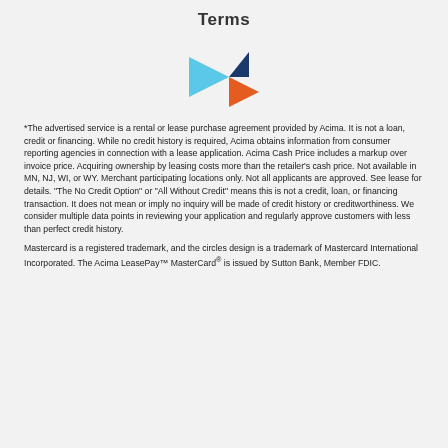Terms
[Figure (logo): Acima logo: two arrow/chevron shapes — a light blue triangle pointing right and a dark blue triangle pointing up-right, with an orange triangle pointing right, forming a stylized play-button arrow shape]
*The advertised service is a rental or lease purchase agreement provided by Acima. It is not a loan, credit or financing. While no credit history is required, Acima obtains information from consumer reporting agencies in connection with a lease application. Acima Cash Price includes a markup over invoice price. Acquiring ownership by leasing costs more than the retailer's cash price. Not available in MN, NJ, WI, or WY. Merchant participating locations only. Not all applicants are approved. See lease for details. "The No Credit Option" or "All Without Credit" means this is not a credit, loan, or financing transaction. It does not mean or imply no inquiry will be made of credit history or creditworthiness. We consider multiple data points in reviewing your application and regularly approve customers with less than perfect credit history.
Mastercard is a registered trademark, and the circles design is a trademark of Mastercard International Incorporated. The Acima LeasePay™ MasterCard® is issued by Sutton Bank, Member FDIC.